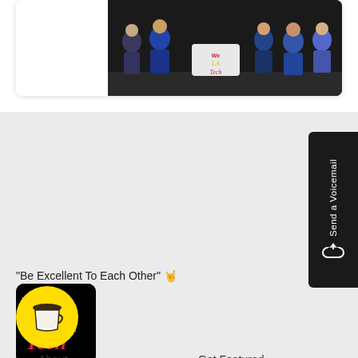[Figure (photo): Group photo of people sitting and standing with a 'We Are LA Tech' sign, dark background]
[Figure (logo): We Are LA Tech logo — black square with colorful text 'WE are LA Tech']
"Be Excellent To Each Other" 🤘
[Figure (illustration): Yellow circular coffee cup Buy Me a Coffee button]
About
Get Featured
Send a Voicemail